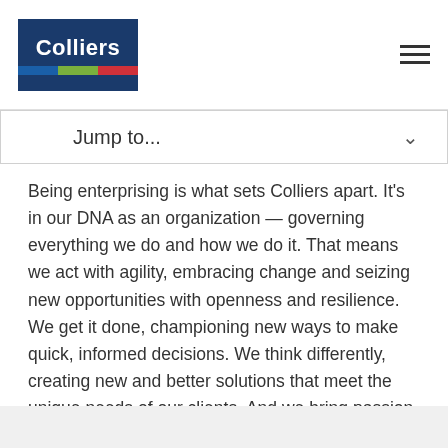Colliers
Jump to...
Being enterprising is what sets Colliers apart. It's in our DNA as an organization — governing everything we do and how we do it. That means we act with agility, embracing change and seizing new opportunities with openness and resilience. We get it done, championing new ways to make quick, informed decisions. We think differently, creating new and better solutions that meet the unique needs of our clients. And we bring passion to our work while holding ourselves accountable in all that we do.